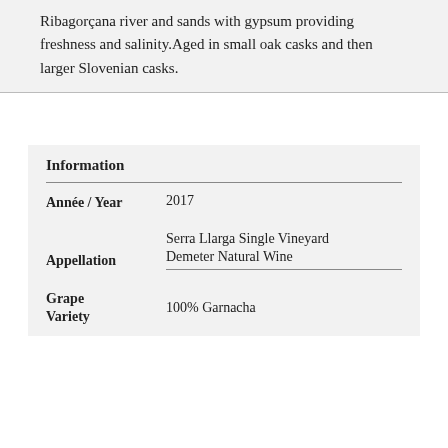Ribagorçana river and sands with gypsum providing freshness and salinity.Aged in small oak casks and then larger Slovenian casks.
| Field | Value |
| --- | --- |
| Information |  |
| Année / Year | 2017 |
| Appellation | Serra Llarga Single Vineyard
Demeter Natural Wine |
| Grape Variety | 100% Garnacha |